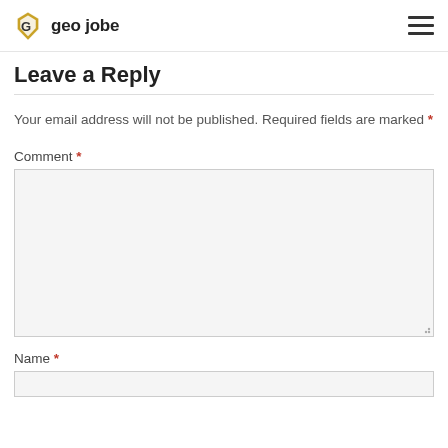geo jobe
Leave a Reply
Your email address will not be published. Required fields are marked *
Comment *
Name *